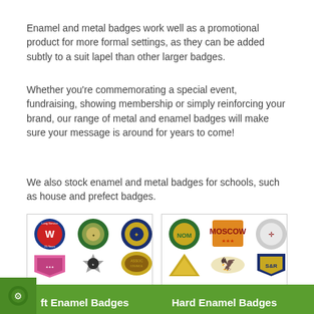Enamel and metal badges work well as a promotional product for more formal settings, as they can be added subtly to a suit lapel than other larger badges.
Whether you're commemorating a special event, fundraising, showing membership or simply reinforcing your brand, our range of metal and enamel badges will make sure your message is around for years to come!
We also stock enamel and metal badges for schools, such as house and prefect badges.
[Figure (photo): Grid of 9 soft enamel badges including circular, star, shield, and lion-shaped badges with text 'Prices on application']
[Figure (photo): Grid of 9 hard enamel badges including circular, winged, shield-shaped badges with logos and text 'Prices on application']
Soft Enamel Badges    Hard Enamel Badges